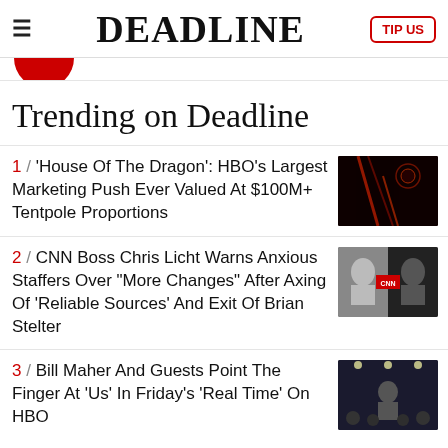DEADLINE | TIP US
Trending on Deadline
1 / 'House Of The Dragon': HBO's Largest Marketing Push Ever Valued At $100M+ Tentpole Proportions
2 / CNN Boss Chris Licht Warns Anxious Staffers Over "More Changes" After Axing Of 'Reliable Sources' And Exit Of Brian Stelter
3 / Bill Maher And Guests Point The Finger At 'Us' In Friday's 'Real Time' On HBO